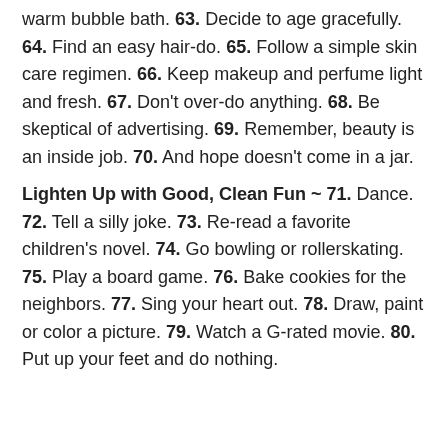warm bubble bath. 63. Decide to age gracefully. 64. Find an easy hair-do. 65. Follow a simple skin care regimen. 66. Keep makeup and perfume light and fresh. 67. Don't over-do anything. 68. Be skeptical of advertising. 69. Remember, beauty is an inside job. 70. And hope doesn't come in a jar.
Lighten Up with Good, Clean Fun ~ 71. Dance. 72. Tell a silly joke. 73. Re-read a favorite children's novel. 74. Go bowling or rollerskating. 75. Play a board game. 76. Bake cookies for the neighbors. 77. Sing your heart out. 78. Draw, paint or color a picture. 79. Watch a G-rated movie. 80. Put up your feet and do nothing.